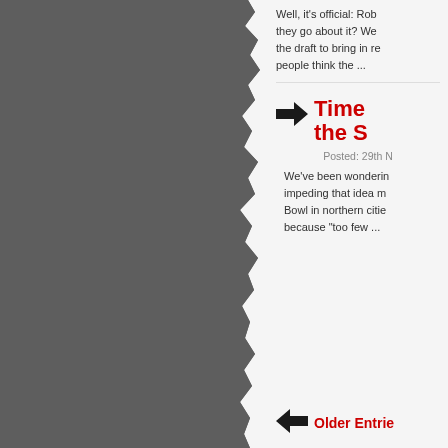[Figure (illustration): Gray torn-edge paper effect on left side of page]
Well, it's official: Rob ... they go about it? We ... the draft to bring in re ... people think the ...
Time ... the S...
Posted: 29th N...
We've been wonderin... impeding that idea m... Bowl in northern citie... because “too few ...
Older Entrie...